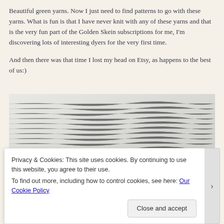Beautiful green yarns. Now I just need to find patterns to go with these yarns. What is fun is that I have never knit with any of these yarns and that is the very fun part of the Golden Skein subscriptions for me, I'm discovering lots of interesting dyers for the very first time.
And then there was that time I lost my head on Etsy, as happens to the best of us:)
[Figure (photo): Photo of yarn skeins — green, purple/dark, and red — against a light grey/white textured background (appears to be draped fabric or fleece).]
Privacy & Cookies: This site uses cookies. By continuing to use this website, you agree to their use.
To find out more, including how to control cookies, see here: Our Cookie Policy